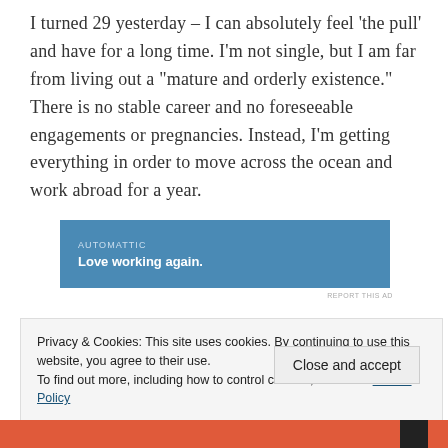I turned 29 yesterday – I can absolutely feel 'the pull' and have for a long time. I'm not single, but I am far from living out a "mature and orderly existence." There is no stable career and no foreseeable engagements or pregnancies. Instead, I'm getting everything in order to move across the ocean and work abroad for a year.
[Figure (other): Advertisement banner for Automattic with blue background. Brand name 'AUTOMATTIC' in small caps and tagline 'Love working again.' in bold white text.]
REPORT THIS AD
Privacy & Cookies: This site uses cookies. By continuing to use this website, you agree to their use.
To find out more, including how to control cookies, see here: Cookie Policy
Close and accept